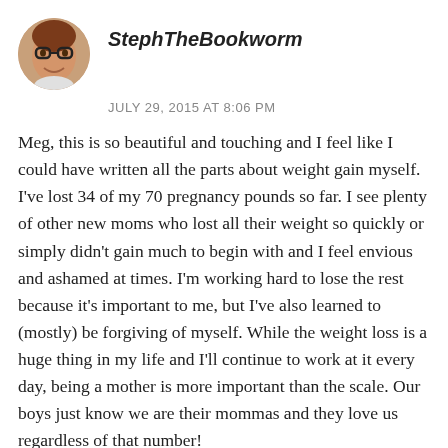[Figure (photo): Circular avatar photo of a person wearing glasses, smiling.]
StephTheBookworm
JULY 29, 2015 AT 8:06 PM
Meg, this is so beautiful and touching and I feel like I could have written all the parts about weight gain myself. I've lost 34 of my 70 pregnancy pounds so far. I see plenty of other new moms who lost all their weight so quickly or simply didn't gain much to begin with and I feel envious and ashamed at times. I'm working hard to lose the rest because it's important to me, but I've also learned to (mostly) be forgiving of myself. While the weight loss is a huge thing in my life and I'll continue to work at it every day, being a mother is more important than the scale. Our boys just know we are their mommas and they love us regardless of that number!